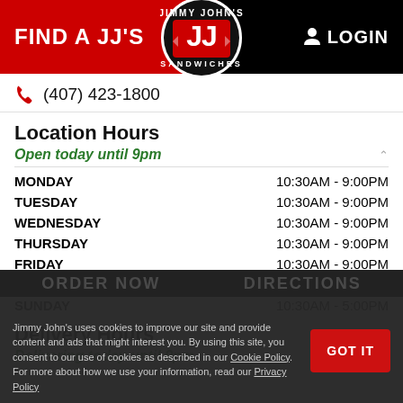FIND A JJ'S | LOGIN
(407) 423-1800
Location Hours
Open today until 9pm
| Day | Hours |
| --- | --- |
| MONDAY | 10:30AM - 9:00PM |
| TUESDAY | 10:30AM - 9:00PM |
| WEDNESDAY | 10:30AM - 9:00PM |
| THURSDAY | 10:30AM - 9:00PM |
| FRIDAY | 10:30AM - 9:00PM |
| SATURDAY | 10:30AM - 5:00PM |
| SUNDAY | 10:30AM - 5:00PM |
Delivery Hours
Delivering today until 9pm
Jimmy John's uses cookies to improve our site and provide content and ads that might interest you. By using this site, you consent to our use of cookies as described in our Cookie Policy. For more about how we use your information, read our Privacy Policy
GOT IT